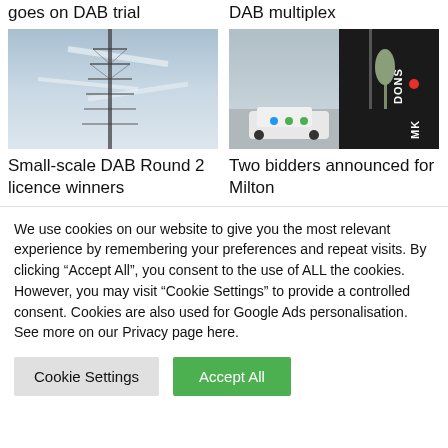goes on DAB trial
DAB multiplex
[Figure (photo): A transmission tower against a cloudy sky]
[Figure (photo): MK Dons building exterior with a branded car parked outside]
Small-scale DAB Round 2 licence winners
Two bidders announced for Milton
We use cookies on our website to give you the most relevant experience by remembering your preferences and repeat visits. By clicking “Accept All”, you consent to the use of ALL the cookies. However, you may visit “Cookie Settings” to provide a controlled consent. Cookies are also used for Google Ads personalisation. See more on our Privacy page here.
Cookie Settings
Accept All